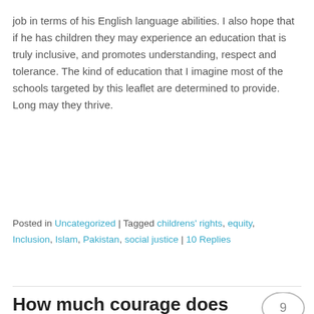job in terms of his English language abilities. I also hope that if he has children they may experience an education that is truly inclusive, and promotes understanding, respect and tolerance. The kind of education that I imagine most of the schools targeted by this leaflet are determined to provide. Long may they thrive.
Posted in Uncategorized | Tagged childrens' rights, equity, Inclusion, Islam, Pakistan, social justice | 10 Replies
How much courage does it take to be a teacher?
Posted on March 19, 2015
[Figure (photo): Photo of a person wearing a red outfit with a floral headpiece]